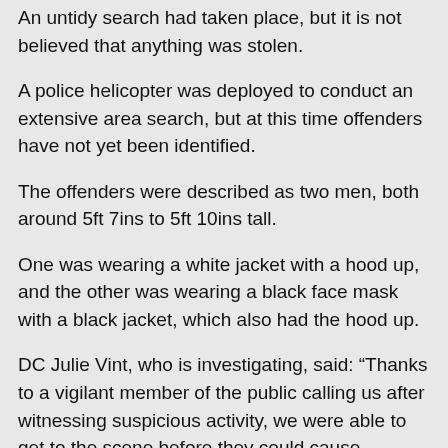An untidy search had taken place, but it is not believed that anything was stolen.
A police helicopter was deployed to conduct an extensive area search, but at this time offenders have not yet been identified.
The offenders were described as two men, both around 5ft 7ins to 5ft 10ins tall.
One was wearing a white jacket with a hood up, and the other was wearing a black face mask with a black jacket, which also had the hood up.
DC Julie Vint, who is investigating, said: “Thanks to a vigilant member of the public calling us after witnessing suspicious activity, we were able to get to the scene before they could cause significant damage or steal any property.
“I know that some time has passed since the date of this incident, but we have exhausted all other lines of enquiry and